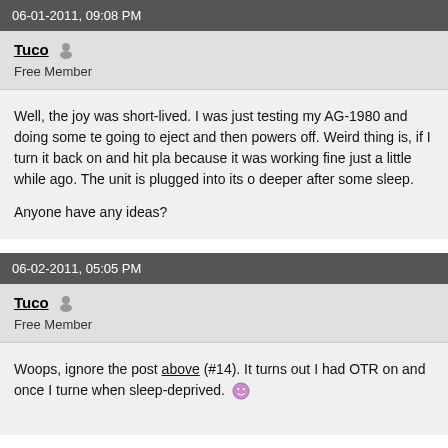06-01-2011, 09:08 PM
Tuco
Free Member
Well, the joy was short-lived. I was just testing my AG-1980 and doing some te... going to eject and then powers off. Weird thing is, if I turn it back on and hit pla... because it was working fine just a little while ago. The unit is plugged into its o... deeper after some sleep.

Anyone have any ideas?
06-02-2011, 05:05 PM
Tuco
Free Member
Woops, ignore the post above (#14). It turns out I had OTR on and once I turne... when sleep-deprived. 😊